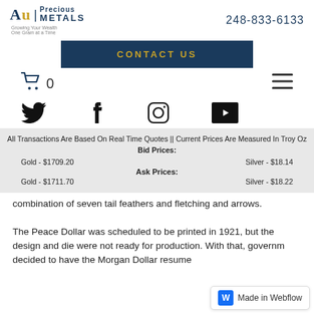Au Precious Metals | Growing Your Wealth One Gram at a Time | 248-833-6133
[Figure (other): Contact Us button, dark navy background with gold text]
[Figure (other): Shopping cart icon with count 0 and hamburger menu icon]
[Figure (other): Social media icons: Twitter, Facebook, Instagram, YouTube]
All Transactions Are Based On Real Time Quotes || Current Prices Are Measured In Troy Oz
Bid Prices:
Gold - $1709.20    Silver - $18.14
Ask Prices:
Gold - $1711.70    Silver - $18.22
combination of seven tail feathers and fletching and arrows.
The Peace Dollar was scheduled to be printed in 1921, but the design and die were not ready for production. With that, government decided to have the Morgan Dollar resume